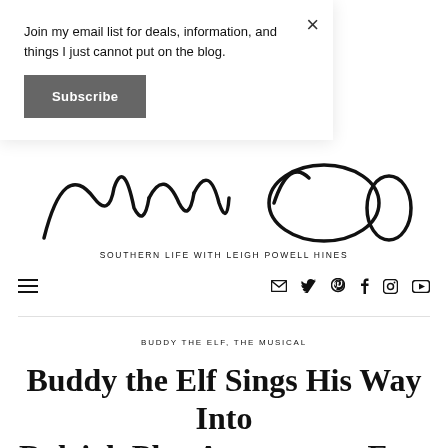Join my email list for deals, information, and things I just cannot put on the blog.
Subscribe
[Figure (illustration): Cursive/script blog logo text for 'Leigh Powell Hines' blog]
SOUTHERN LIFE WITH LEIGH POWELL HINES
[Figure (infographic): Navigation bar with hamburger menu on left and social media icons (email, twitter, pinterest, facebook, instagram, youtube) on right]
BUDDY THE ELF, THE MUSICAL
Buddy the Elf Sings His Way Into Raleigh Plus Announce a Free